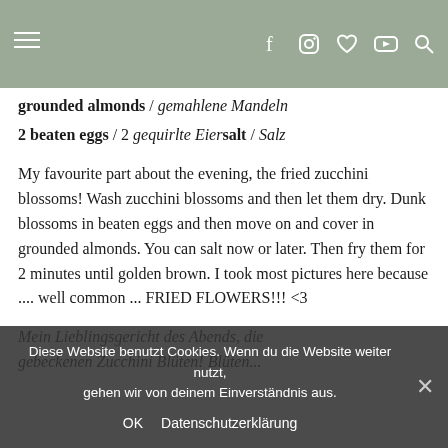Navigation header with hamburger menu and icons: f (Facebook), Instagram, Heart, YouTube, Search
grounded almonds / gemahlene Mandeln
2 beaten eggs / 2 gequirlte Eier salt / Salz
My favourite part about the evening, the fried zucchini blossoms! Wash zucchini blossoms and then let them dry. Dunk blossoms in beaten eggs and then move on and cover in grounded almonds. You can salt now or later. Then fry them for 2 minutes until golden brown. I took most pictures here because .... well common ... FRIED FLOWERS!!! <3
Mein Lieblingsgemicht des Abends, die gebeckenen Zucchini Blüten! Blüten...
Cookie notice: Diese Website benutzt Cookies. Wenn du die Website weiter nutzt, gehen wir von deinem Einverständnis aus. OK | Datenschutzerklärung